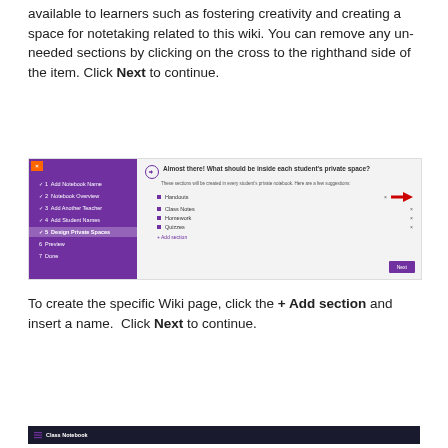available to learners such as fostering creativity and creating a space for notetaking related to this wiki. You can remove any un-needed sections by clicking on the cross to the righthand side of the item. Click Next to continue.
[Figure (screenshot): A screenshot showing a Microsoft Class Notebook setup wizard. Left panel shows purple navigation steps (1-7) with step 5 'Design Private Spaces' highlighted. Right panel shows 'Almost there! What should be inside each student's private space?' with sections: Handouts (with red arrow pointing to X), Class Notes, Homework, Quizzes, and a + Add section link. A purple Next button is bottom right.]
To create the specific Wiki page, click the + Add section and insert a name. Click Next to continue.
[Figure (screenshot): Bottom bar showing Class Notebook dark header bar]